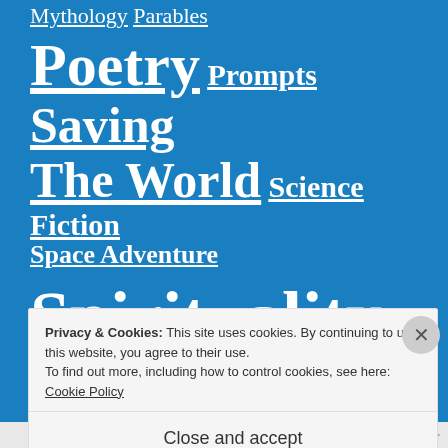Mythology Parables
Poetry Prompts Saving The World Science Fiction
Space Adventure
Spirituality
Privacy & Cookies: This site uses cookies. By continuing to use this website, you agree to their use. To find out more, including how to control cookies, see here: Cookie Policy
Close and accept